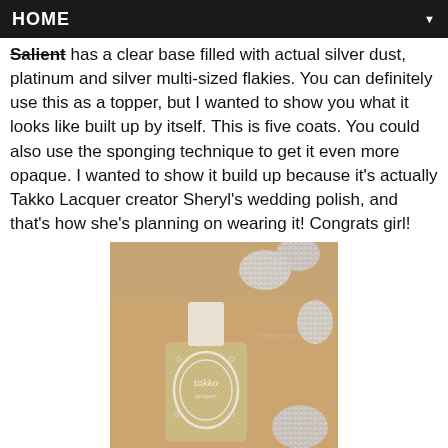HOME
Salient has a clear base filled with actual silver dust, platinum and silver multi-sized flakies. You can definitely use this as a topper, but I wanted to show you what it looks like built up by itself. This is five coats. You could also use the sponging technique to get it even more opaque. I wanted to show it build up because it's actually Takko Lacquer creator Sheryl's wedding polish, and that's how she's planning on wearing it! Congrats girl!
[Figure (photo): A bottle of Takko Lacquer nail polish (silver/glitter) held in front of a hand with silver glitter nails applied. The polish bottle has a white decorative floral label with the Takko Lacquer logo in an oval frame.]
[Figure (photo): Bottom strip showing another nail-related photo, partially visible at bottom of page.]